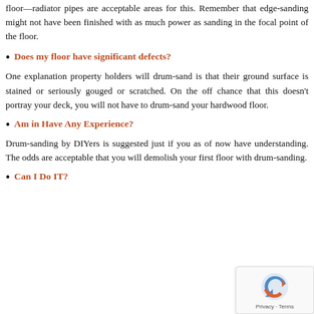floor—radiator pipes are acceptable areas for this. Remember that edge-sanding might not have been finished with as much power as sanding in the focal point of the floor.
Does my floor have significant defects?
One explanation property holders will drum-sand is that their ground surface is stained or seriously gouged or scratched. On the off chance that this doesn't portray your deck, you will not have to drum-sand your hardwood floor.
Am in Have Any Experience?
Drum-sanding by DIYers is suggested just if you as of now have understanding. The odds are acceptable that you will demolish your first floor with drum-sanding.
Can I Do IT?